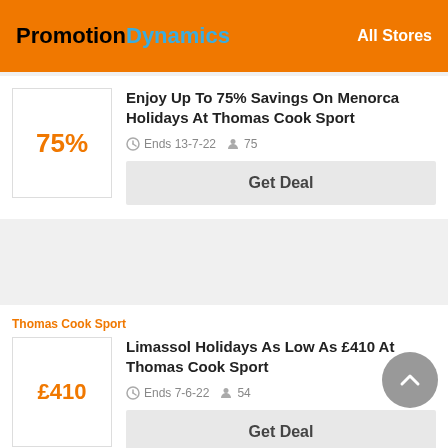PromotionDynamics — All Stores
75%
Enjoy Up To 75% Savings On Menorca Holidays At Thomas Cook Sport
Ends 13-7-22  75
Get Deal
Thomas Cook Sport
£410
Limassol Holidays As Low As £410 At Thomas Cook Sport
Ends 7-6-22  54
Get Deal